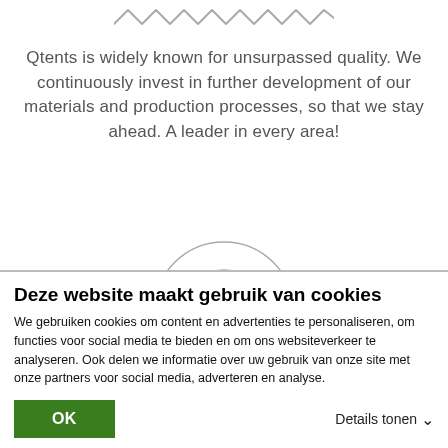[Figure (illustration): Zigzag/wave decorative line pattern in gray]
Qtents is widely known for unsurpassed quality. We continuously invest in further development of our materials and production processes, so that we stay ahead. A leader in every area!
[Figure (illustration): Partially visible circular illustration of tent or dome structure]
Deze website maakt gebruik van cookies
We gebruiken cookies om content en advertenties te personaliseren, om functies voor social media te bieden en om ons websiteverkeer te analyseren. Ook delen we informatie over uw gebruik van onze site met onze partners voor social media, adverteren en analyse.
OK
Details tonen